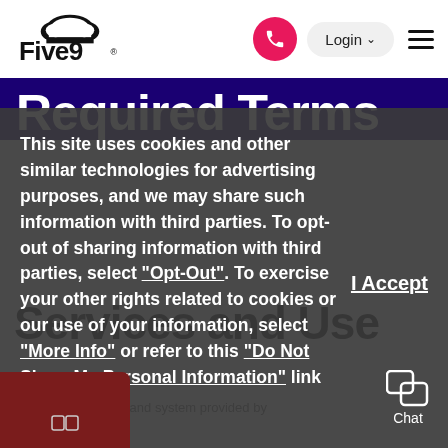[Figure (logo): Five9 cloud logo with text 'Five9' in black, cloud shape above]
Required Terms
This site uses cookies and other similar technologies for advertising purposes, and we may share such information with third parties. To opt-out of sharing information with third parties, select "Opt-Out". To exercise your other rights related to cookies or our use of your information, select "More Info" or refer to this "Do Not Share My Personal Information" link.
I Accept
Services and Use
call center software and system provided by